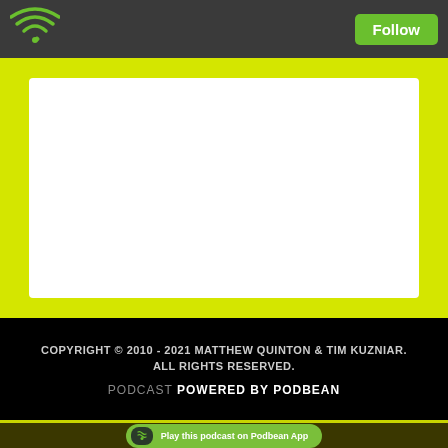[Figure (logo): WiFi/podcast icon in green at top left of dark header bar]
Follow
[Figure (illustration): White rectangle on yellow/lime green background representing podcast artwork placeholder]
COPYRIGHT © 2010 - 2021 MATTHEW QUINTON & TIM KUZNIAR. ALL RIGHTS RESERVED.
PODCAST POWERED BY PODBEAN
Play this podcast on Podbean App